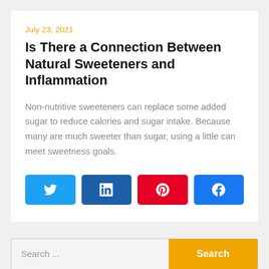July 23, 2021
Is There a Connection Between Natural Sweeteners and Inflammation
Non-nutritive sweeteners can replace some added sugar to reduce calories and sugar intake. Because many are much sweeter than sugar, using a little can meet sweetness goals.
[Figure (other): Social share buttons: Twitter (light blue), LinkedIn (dark blue), Pinterest (red), Facebook (blue)]
Search ...
Search